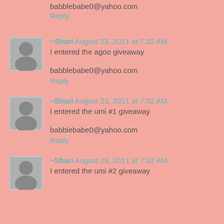babblebabe0@yahoo.com
Reply
~Shari  August 23, 2011 at 7:32 AM
I entered the agoo giveaway
babblebabe0@yahoo.com
Reply
~Shari  August 23, 2011 at 7:32 AM
I entered the umi #1 giveaway
babblebabe0@yahoo.com
Reply
~Shari  August 23, 2011 at 7:32 AM
I entered the umi #2 giveaway